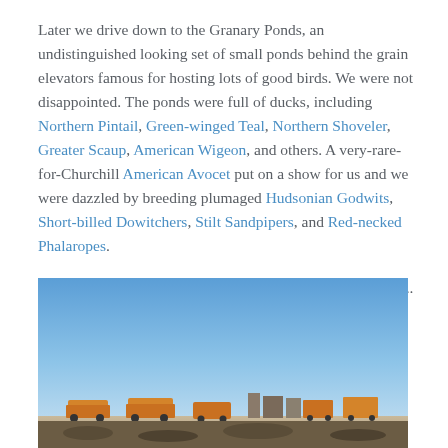Later we drive down to the Granary Ponds, an undistinguished looking set of small ponds behind the grain elevators famous for hosting lots of good birds. We were not disappointed. The ponds were full of ducks, including Northern Pintail, Green-winged Teal, Northern Shoveler, Greater Scaup, American Wigeon, and others. A very-rare-for-Churchill American Avocet put on a show for us and we were dazzled by breeding plumaged Hudsonian Godwits, Short-billed Dowitchers, Stilt Sandpipers, and Red-necked Phalaropes.
And in the background? The famous polar bear tour buses....
[Figure (photo): Outdoor photo showing a blue sky and distant buildings or vehicles on the horizon, likely polar bear tour buses in Churchill.]